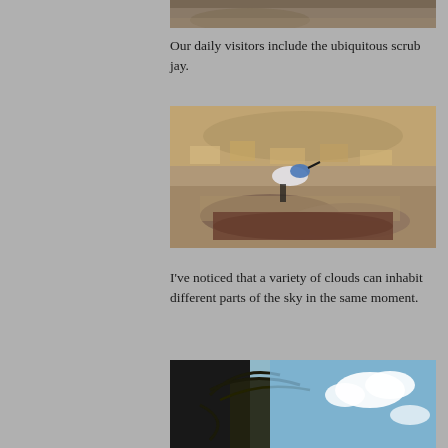[Figure (photo): Partial photo at top of page, appears to be ground/soil with a leaf or object]
Our daily visitors include the ubiquitous scrub jay.
[Figure (photo): A scrub jay bird perched on a rusty pipe on sandy ground surrounded by dried leaves]
I've noticed that a variety of clouds can inhabit different parts of the sky in the same moment.
[Figure (photo): Palm tree fronds against a blue sky with white clouds]